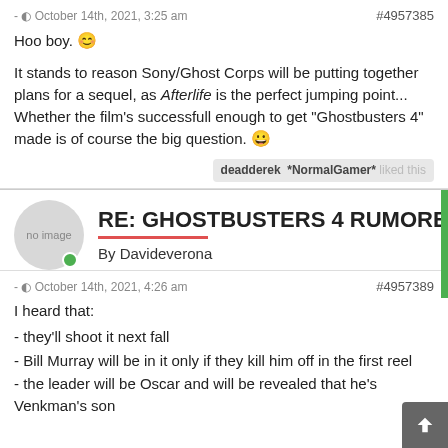- October 14th, 2021, 3:25 am    #4957385
Hoo boy. 😊
It stands to reason Sony/Ghost Corps will be putting together plans for a sequel, as Afterlife is the perfect jumping point... Whether the film's successfull enough to get "Ghostbusters 4" made is of course the big question. 😀
deadderek  *NormalGamer*  liked this
RE: GHOSTBUSTERS 4 RUMORED A
By Davideverona
- October 14th, 2021, 4:26 am    #4957389
I heard that:
- they'll shoot it next fall
- Bill Murray will be in it only if they kill him off in the first reel
- the leader will be Oscar and will be revealed that he's Venkman's son